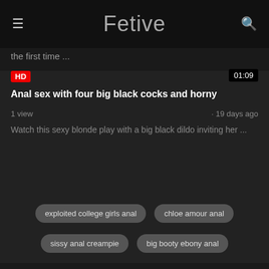Fetive
the first time ...
[Figure (screenshot): Dark video thumbnail area with HD badge and 01:09 duration]
Anal sex with four big black cocks and horny
1 view · 19 days ago
Watch this sexy blonde play with a big black dildo inviting her ...
exploited college girls anal
chloe amour anal
sissy anal creampie
big booty ebony anal